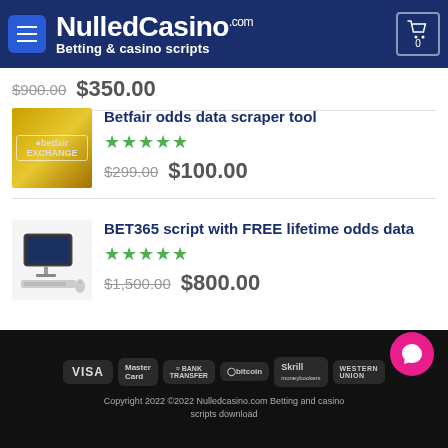NulledCasino.com Betting & casino scripts
$900.00  $350.00
Betfair odds data scraper tool
★★★★★
$299.00  $100.00
BET365 script with FREE lifetime odds data
★★★★★
$1,500.00  $800.00
Copyright 2022 ©2022 Nulledcasino.com Betting and casino scripts download